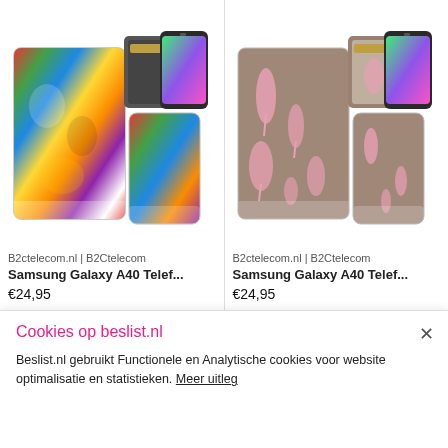[Figure (photo): Samsung Galaxy A40 phone case with colorful tropical birds pattern - book/wallet style case and slim case shown]
B2ctelecom.nl | B2Ctelecom
Samsung Galaxy A40 Telef...
€24,95
[Figure (photo): Samsung Galaxy A40 phone case with pink flamingo pattern on grey background - book/wallet style case and slim case shown]
B2ctelecom.nl | B2Ctelecom
Samsung Galaxy A40 Telef...
€24,95
Cookies op beslist.nl
Beslist.nl gebruikt Functionele en Analytische cookies voor website optimalisatie en statistieken. Meer uitleg